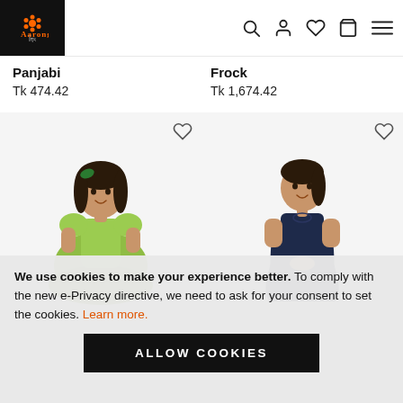Aarong
Panjabi
Tk 474.42
Frock
Tk 1,674.42
[Figure (photo): Girl in green tiered dress with heart/wishlist icon]
[Figure (photo): Girl in navy blue sleeveless dress with heart/wishlist icon]
We use cookies to make your experience better. To comply with the new e-Privacy directive, we need to ask for your consent to set the cookies. Learn more.
ALLOW COOKIES